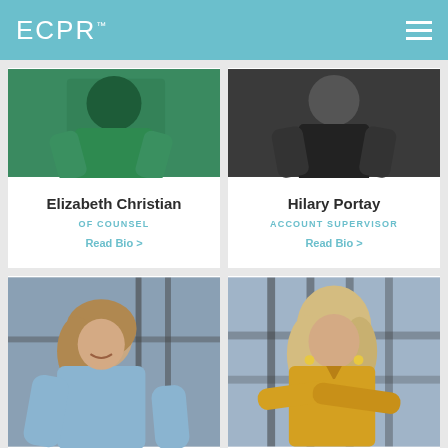ECPR™
[Figure (photo): Woman in green dress with arms crossed, professional headshot]
Elizabeth Christian
OF COUNSEL
Read Bio >
[Figure (photo): Woman in black outfit, professional headshot]
Hilary Portay
ACCOUNT SUPERVISOR
Read Bio >
[Figure (photo): Woman with light brown hair in blue shirt, smiling, standing near window]
[Figure (photo): Young woman with blonde hair in yellow sleeveless top with arms crossed]